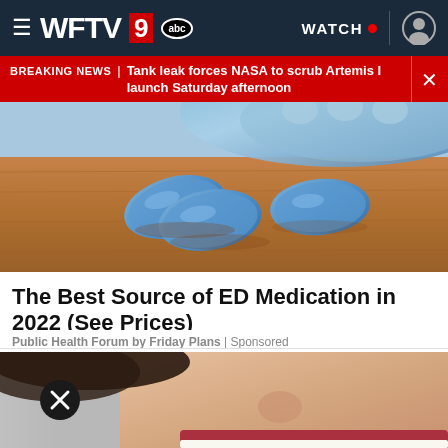WFTV 9 abc | WATCH
BREAKING NEWS | Tank leak forces NASA to scrub Artemis I launch Saturday afternoon
[Figure (photo): Three blue oval pills/tablets on a wooden surface with a blue blister pack in the background]
The Best Source of ED Medication in 2022 (See Prices)
Public Health Forum by Friday Plans | Sponsored
[Figure (photo): Close-up of a smiling person's face with red lips and white teeth, with a dark close/dismiss button overlay]